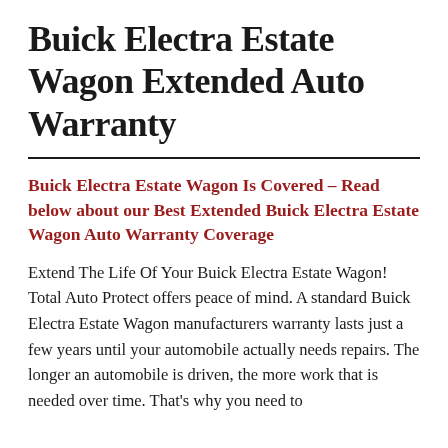Buick Electra Estate Wagon Extended Auto Warranty
Buick Electra Estate Wagon Is Covered – Read below about our Best Extended Buick Electra Estate Wagon Auto Warranty Coverage
Extend The Life Of Your Buick Electra Estate Wagon! Total Auto Protect offers peace of mind. A standard Buick Electra Estate Wagon manufacturers warranty lasts just a few years until your automobile actually needs repairs. The longer an automobile is driven, the more work that is needed over time. That's why you need to